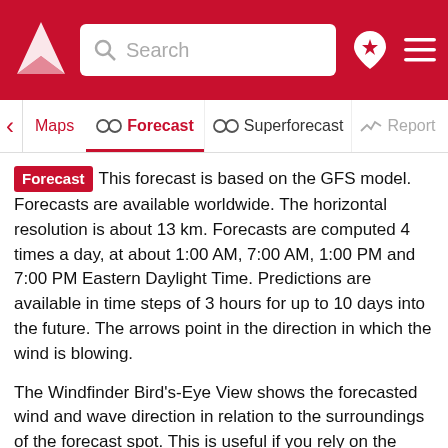[Figure (screenshot): Windfinder app top red navigation bar with logo, search box, location pin icon, and hamburger menu]
[Figure (screenshot): Navigation tab bar with Maps, Forecast (active/selected), Superforecast, and Report tabs]
Forecast This forecast is based on the GFS model. Forecasts are available worldwide. The horizontal resolution is about 13 km. Forecasts are computed 4 times a day, at about 1:00 AM, 7:00 AM, 1:00 PM and 7:00 PM Eastern Daylight Time. Predictions are available in time steps of 3 hours for up to 10 days into the future. The arrows point in the direction in which the wind is blowing.
The Windfinder Bird's-Eye View shows the forecasted wind and wave direction in relation to the surroundings of the forecast spot. This is useful if you rely on the exact wind direction for your outdoor activities like fishing or hunting or if you are looking for the best surf conditions. Check the wind forecast for Sleeping Bear Dunes when you search for the best travel destinations for your kiteboarding, windsurfing or sailing vacations in United States of America. Or use our wind forecast to find the wind speed today in Sleeping Bear Dunes or to have a look at the wind direction